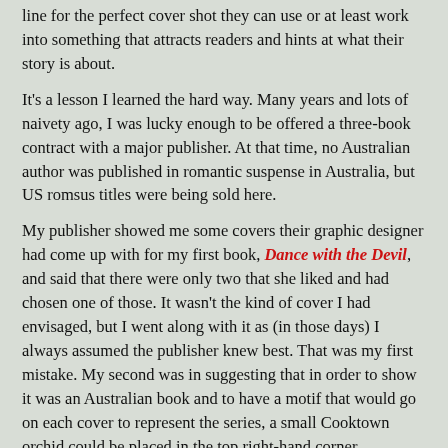line for the perfect cover shot they can use or at least work into something that attracts readers and hints at what their story is about.
It's a lesson I learned the hard way. Many years and lots of naivety ago, I was lucky enough to be offered a three-book contract with a major publisher. At that time, no Australian author was published in romantic suspense in Australia, but US romsus titles were being sold here.
My publisher showed me some covers their graphic designer had come up with for my first book, Dance with the Devil, and said that there were only two that she liked and had chosen one of those. It wasn't the kind of cover I had envisaged, but I went along with it as (in those days) I always assumed the publisher knew best. That was my first mistake. My second was in suggesting that in order to show it was an Australian book and to have a motif that would go on each cover to represent the series, a small Cooktown orchid could be placed in the top right-hand corner.
[Figure (photo): Partial book cover image showing what appears to be a floral or orchid motif on a dark purple/blue background, likely the cover of 'Dance with the Devil']